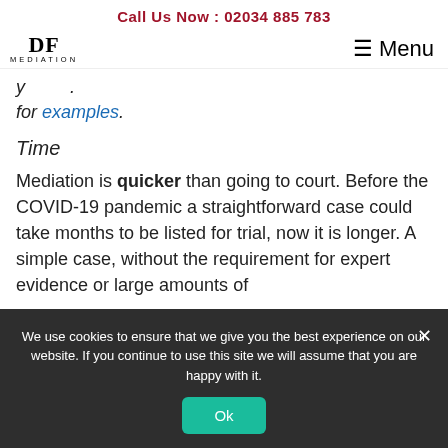Call Us Now : 02034 885 783
[Figure (logo): DF Mediation logo with stylized DF letters and MEDIATION text below]
for examples.
Time
Mediation is quicker than going to court. Before the COVID-19 pandemic a straightforward case could take months to be listed for trial, now it is longer. A simple case, without the requirement for expert evidence or large amounts of
We use cookies to ensure that we give you the best experience on our website. If you continue to use this site we will assume that you are happy with it.